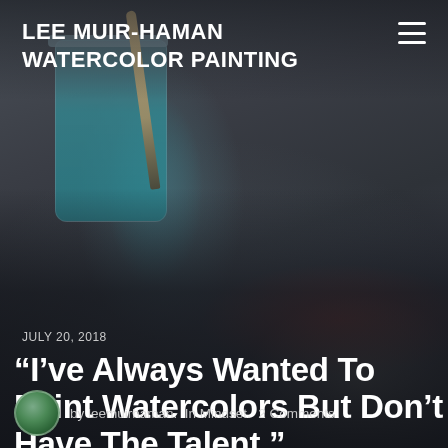LEE MUIR-HAMAN WATERCOLOR PAINTING
JULY 20, 2018
“I’ve Always Wanted To Paint Watercolors But Don’t Have The Talent.”
by leemuirhaman.  In Mindset.  2 Comments
[Figure (photo): Close-up photo of a glass jar filled with teal/blue watercolor water with a paintbrush resting in it, along with watercolor palettes in the blurred background, on a gray-toned artistic workspace]